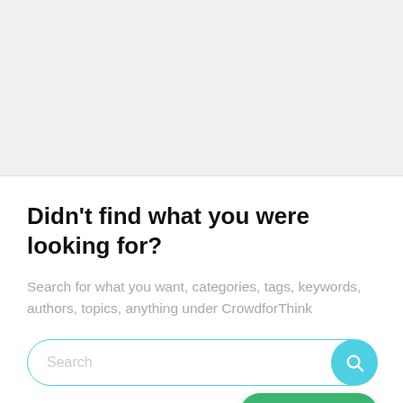Didn't find what you were looking for?
Search for what you want, categories, tags, keywords, authors, topics, anything under CrowdforThink
[Figure (screenshot): Search input bar with teal border and rounded corners, with a teal circular search icon button on the right, and a green 'Chat with Us' WhatsApp button overlay in the bottom right corner.]